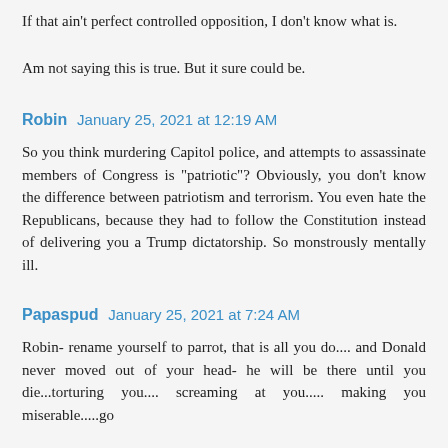If that ain't perfect controlled opposition, I don't know what is.
Am not saying this is true. But it sure could be.
Robin  January 25, 2021 at 12:19 AM
So you think murdering Capitol police, and attempts to assassinate members of Congress is "patriotic"? Obviously, you don't know the difference between patriotism and terrorism. You even hate the Republicans, because they had to follow the Constitution instead of delivering you a Trump dictatorship. So monstrously mentally ill.
Papaspud  January 25, 2021 at 7:24 AM
Robin- rename yourself to parrot, that is all you do.... and Donald never moved out of your head- he will be there until you die...torturing you.... screaming at you..... making you miserable.....go